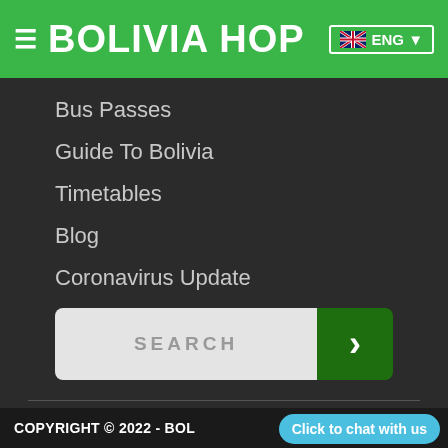BOLIVIA HOP — ENG (navigation header)
Bus Passes
Guide To Bolivia
Timetables
Blog
Coronavirus Update
[Figure (screenshot): Search bar with green arrow button]
[Figure (infographic): Social media icons: Facebook, Instagram, Twitter]
COPYRIGHT © 2022 - BOL   Click to chat with us